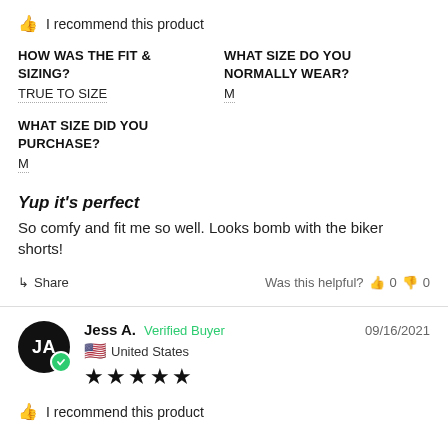I recommend this product
HOW WAS THE FIT & SIZING?
TRUE TO SIZE
WHAT SIZE DO YOU NORMALLY WEAR?
M
WHAT SIZE DID YOU PURCHASE?
M
Yup it's perfect
So comfy and fit me so well. Looks bomb with the biker shorts!
Share   Was this helpful?  0  0
Jess A.  Verified Buyer   09/16/2021
United States
★★★★★
I recommend this product